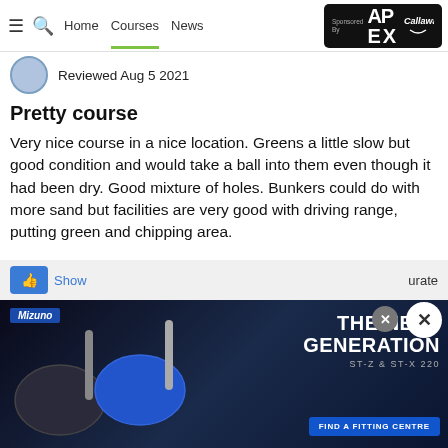≡ 🔍 Home  Courses  News  Sponsored By APEX Callaway
Reviewed Aug 5 2021
Pretty course
Very nice course in a nice location. Greens a little slow but good condition and would take a ball into them even though it had been dry. Good mixture of holes. Bunkers could do with more sand but facilities are very good with driving range, putting green and chipping area.
Reviewer Rating
[Figure (illustration): Five golf balls shown as rating indicator - four filled/colored balls and one empty/outline ball, with Callaway Triple Track branding beside them]
[Figure (photo): Mizuno ST-Z and ST-X 220 golf drivers advertisement - 'The Next Generation' text with blue/dark background and two driver heads visible, with Find a Fitting Centre CTA button]